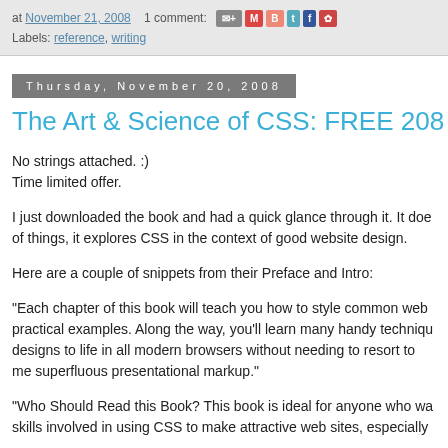at November 21, 2008   1 comment:    Labels: reference, writing
Thursday, November 20, 2008
The Art & Science of CSS: FREE 208 pa
No strings attached. :)
Time limited offer.
I just downloaded the book and had a quick glance through it. It doe of things, it explores CSS in the context of good website design.
Here are a couple of snippets from their Preface and Intro:
"Each chapter of this book will teach you how to style common web practical examples. Along the way, you'll learn many handy techniqu designs to life in all modern browsers without needing to resort to me superfluous presentational markup."
"Who Should Read this Book? This book is ideal for anyone who wa skills involved in using CSS to make attractive web sites, especially